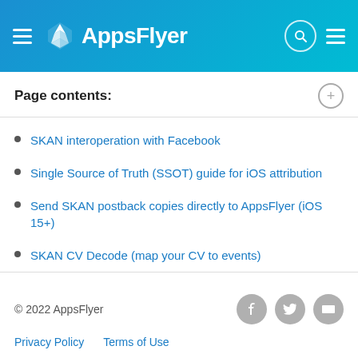AppsFlyer
Page contents:
SKAN interoperation with Facebook
Single Source of Truth (SSOT) guide for iOS attribution
Send SKAN postback copies directly to AppsFlyer (iOS 15+)
SKAN CV Decode (map your CV to events)
© 2022 AppsFlyer
Privacy Policy    Terms of Use